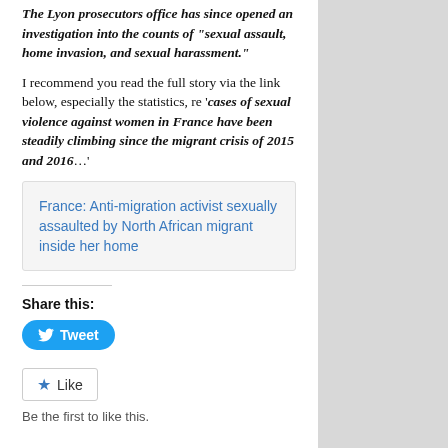The Lyon prosecutors office has since opened an investigation into the counts of “sexual assault, home invasion, and sexual harassment.”
I recommend you read the full story via the link below, especially the statistics, re ‘cases of sexual violence against women in France have been steadily climbing since the migrant crisis of 2015 and 2016…’
France: Anti-migration activist sexually assaulted by North African migrant inside her home
Share this:
Tweet
Like
Be the first to like this.